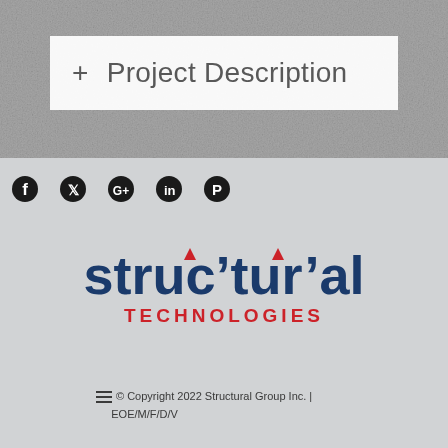+ Project Description
[Figure (infographic): Social media icons: Facebook, Twitter, Google+, LinkedIn, Pinterest]
[Figure (logo): Structural Technologies logo — 'struc'tur'al TECHNOLOGIES' in navy blue and red]
© Copyright 2022 Structural Group Inc. | EOE/M/F/D/V